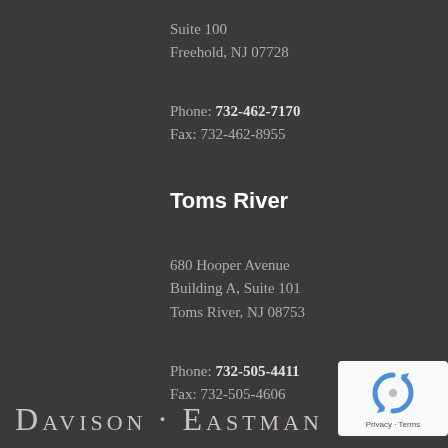Suite 100
Freehold, NJ 07728
Phone: 732-462-7170
Fax: 732-462-8955
Toms River
680 Hooper Avenue
Building A, Suite 101
Toms River, NJ 08753
Phone: 732-505-4411
Fax: 732-505-4606
DAVISON · EASTMAN